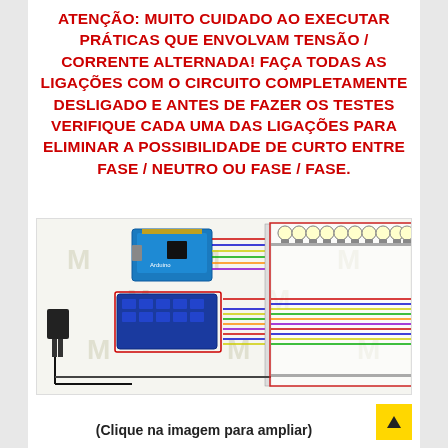ATENÇÃO: MUITO CUIDADO AO EXECUTAR PRÁTICAS QUE ENVOLVAM TENSÃO / CORRENTE ALTERNADA! FAÇA TODAS AS LIGAÇÕES COM O CIRCUITO COMPLETAMENTE DESLIGADO E ANTES DE FAZER OS TESTES VERIFIQUE CADA UMA DAS LIGAÇÕES PARA ELIMINAR A POSSIBILIDADE DE CURTO ENTRE FASE / NEUTRO OU FASE / FASE.
[Figure (schematic): Wiring diagram showing an Arduino board and a relay/driver module connected to multiple light bulbs via colored wires (red, blue, yellow, green), with a power adapter on the left side. The circuit shows connections from the control boards on the left to a row of bulbs arranged along the top and right side.]
(Clique na imagem para ampliar)